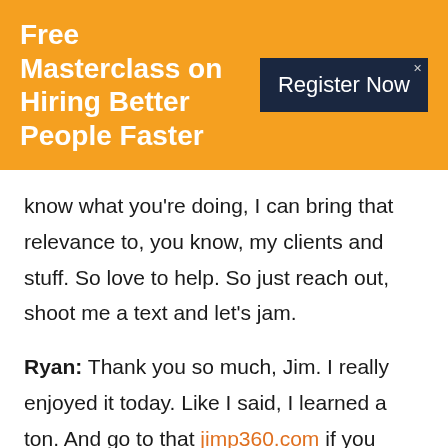Free Masterclass on Hiring Better People Faster
know what you're doing, I can bring that relevance to, you know, my clients and stuff. So love to help. So just reach out, shoot me a text and let's jam.
Ryan: Thank you so much, Jim. I really enjoyed it today. Like I said, I learned a ton. And go to that jimp360.com if you want to connect with Jim. Thanks again.
Jim: ...  Thanks for having...